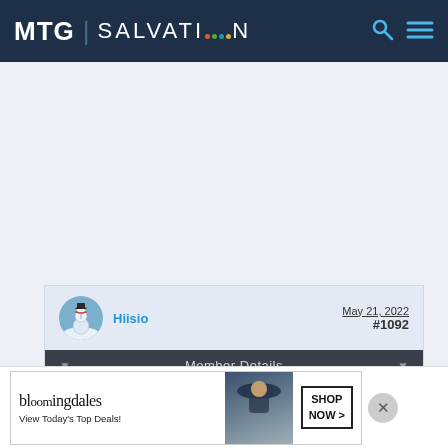MTG SALVATION
[Figure (screenshot): Post comment header showing user Hiisio with avatar, date May 21, 2022, post number #1092, and Member Details bar]
[Figure (photo): Bloomingdales advertisement showing woman in hat with text: bloomingdales, View Today's Top Deals!, SHOP NOW >]